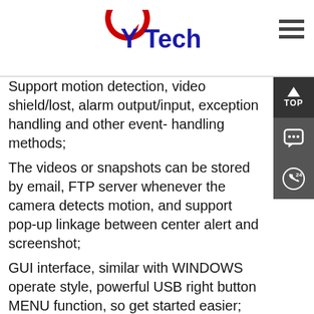YTech
Support motion detection, video shield/lost, alarm output/input, exception handling and other event-handling methods;
The videos or snapshots can be stored by email, FTP server whenever the camera detects motion, and support pop-up linkage between center alert and screenshot;
GUI interface, similar with WINDOWS operate style, powerful USB right button MENU function, so get started easier;
With English, Simplified Chinese, Traditional Chinese, Italian, Spanish, Japanese, Russian, French, German, Portuguese, Turkish, Polish, Romanian, Hungarian, Finnish, Persian / Iranian, Danish, Thai, Greek, Vietnamese, Portuguese (Brazil), Hebrew, Indonesian, Arabic, Swedish, Czech, Bulgarian, Slovak, Dutch, 29 language and OSD menu.T